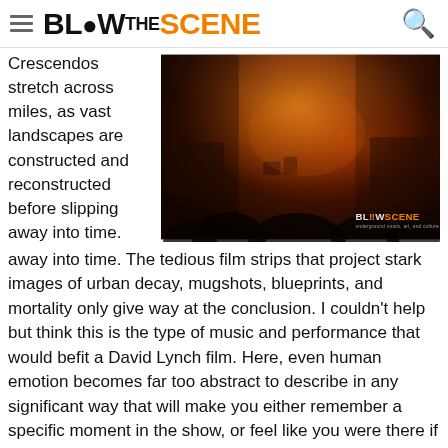BLOW THE SCENE
Crescendos stretch across miles, as vast landscapes are constructed and reconstructed before slipping away into time.
[Figure (photo): Concert photo showing musicians on stage bathed in warm orange/red dramatic lighting with smoke, dark silhouetted crowd in foreground. Blow!Scene watermark in bottom right.]
away into time. The tedious film strips that project stark images of urban decay, mugshots, blueprints, and mortality only give way at the conclusion. I couldn't help but think this is the type of music and performance that would befit a David Lynch film. Here, even human emotion becomes far too abstract to describe in any significant way that will make you either remember a specific moment in the show, or feel like you were there if you missed it. For in the midst of this sold-out crowd, shoulder to shoulder, we were all